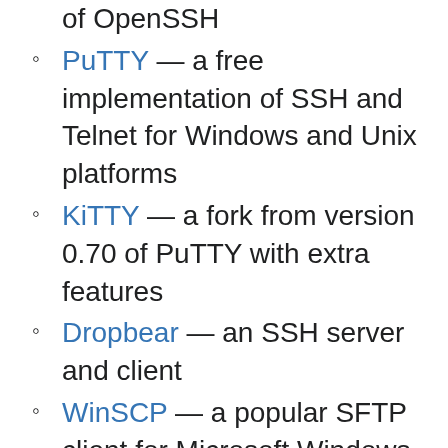of OpenSSH
PuTTY — a free implementation of SSH and Telnet for Windows and Unix platforms
KiTTY — a fork from version 0.70 of PuTTY with extra features
Dropbear — an SSH server and client
WinSCP — a popular SFTP client for Microsoft Windows
asyncssh — an asynchronous SSH2 client and server atop asyncio